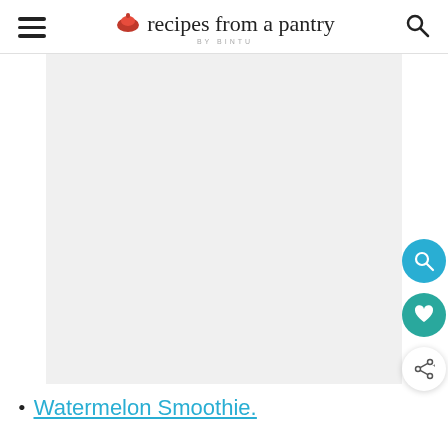recipes from a pantry BY BINTU
[Figure (photo): Large light gray placeholder image area representing a recipe photo]
Watermelon Smoothie.